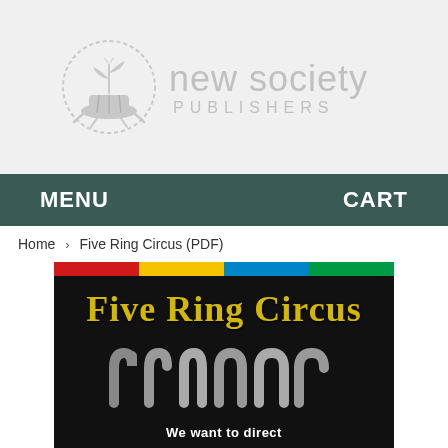[Figure (logo): New Society Publishers logo — circular emblem with plant/sprout on stump surrounded by dotted ring, beside text 'new society PUBLISHERS' in light gray]
MENU   CART
Home › Five Ring Circus (PDF)
[Figure (photo): Book cover for 'Five Ring Circus' — black background with Olympic color bars (red, yellow, blue, green) at top, yellow stylized title text 'Five Ring Circus', silhouette of five Olympic rings below, and white text 'We want to direct' at bottom]